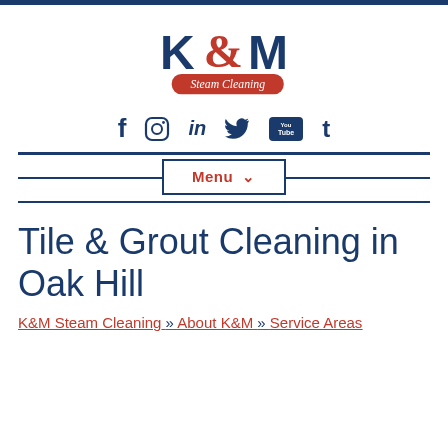[Figure (logo): K&M Steam Cleaning logo with stylized K&M letters in dark blue and red ampersand, with red rounded rectangle banner reading 'Steam Cleaning' in white script]
[Figure (infographic): Social media icons row: Facebook (f), Instagram (circle camera), LinkedIn (in), Twitter (bird), YouTube (You Tube box), Tumblr (t) — all in dark navy blue]
Menu ∨
Tile & Grout Cleaning in Oak Hill
K&M Steam Cleaning » About K&M » Service Areas